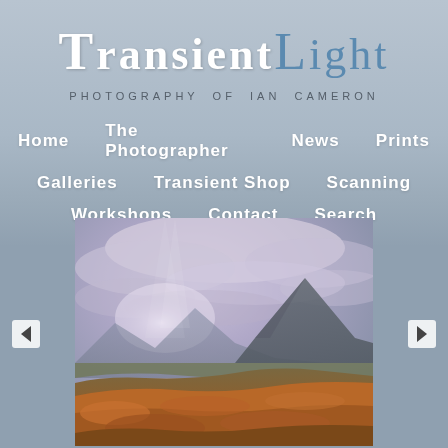TRANSIENT LIGHT
PHOTOGRAPHY OF IAN CAMERON
Home
The Photographer
News
Prints
Galleries
Transient Shop
Scanning
Workshops
Contact
Search
[Figure (photo): Landscape photograph showing a Scottish highland scene with a conical mountain peak, rolling moorland covered in orange-brown heather and grass, and a dramatic sky with purple-grey clouds. The scene has a moody, atmospheric quality with soft light.]